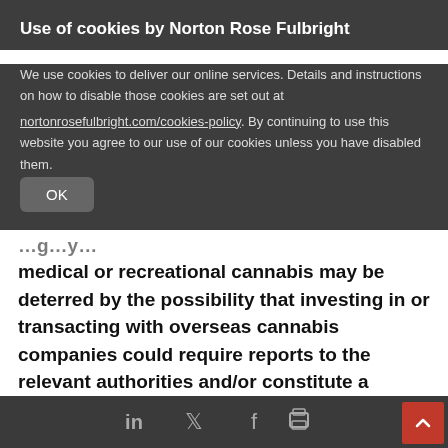Use of cookies by Norton Rose Fulbright
We use cookies to deliver our online services. Details and instructions on how to disable those cookies are set out at nortonrosefulbright.com/cookies-policy. By continuing to use this website you agree to our use of our cookies unless you have disabled them.
OK
medical or recreational cannabis may be deterred by the possibility that investing in or transacting with overseas cannabis companies could require reports to the relevant authorities and/or constitute a criminal offence in the UK.
The UK Proceeds of Crime Act 2002 deems that proceeds of conduct that would be illegal in the UK (even if legal overseas) are to be considered...
LinkedIn Twitter Facebook Print